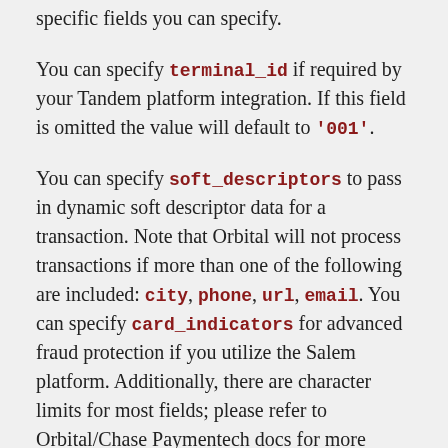specific fields you can specify.
You can specify terminal_id if required by your Tandem platform integration. If this field is omitted the value will default to '001'.
You can specify soft_descriptors to pass in dynamic soft descriptor data for a transaction. Note that Orbital will not process transactions if more than one of the following are included: city, phone, url, email. You can specify card_indicators for advanced fraud protection if you utilize the Salem platform. Additionally, there are character limits for most fields; please refer to Orbital/Chase Paymentech docs for more details.
Use an idempotency_key to retry a request multiple times, without risk of duplication. See Orbital's documentation to learn more about how to use